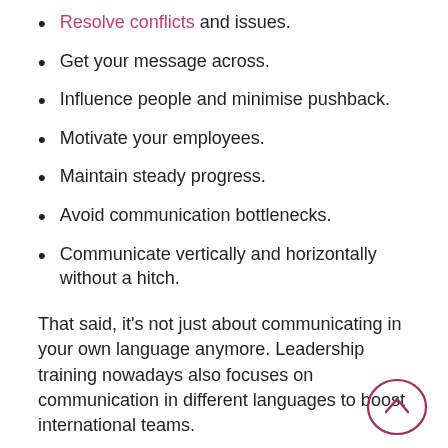Resolve conflicts and issues.
Get your message across.
Influence people and minimise pushback.
Motivate your employees.
Maintain steady progress.
Avoid communication bottlenecks.
Communicate vertically and horizontally without a hitch.
That said, it’s not just about communicating in your own language anymore. Leadership training nowadays also focuses on communication in different languages to boost international teams.
[Figure (illustration): A circular scroll-to-top button with an upward chevron arrow, outlined in dark pink/maroon color.]